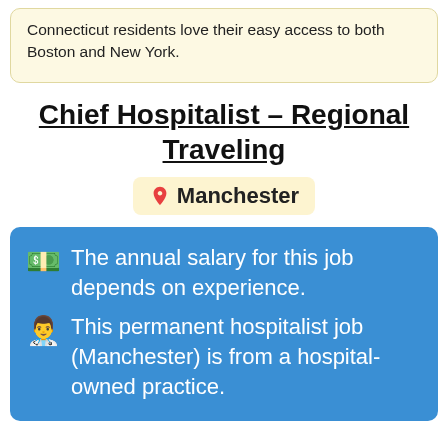Connecticut residents love their easy access to both Boston and New York.
Chief Hospitalist – Regional Traveling  Manchester
The annual salary for this job depends on experience.
This permanent hospitalist job (Manchester) is from a hospital-owned practice.